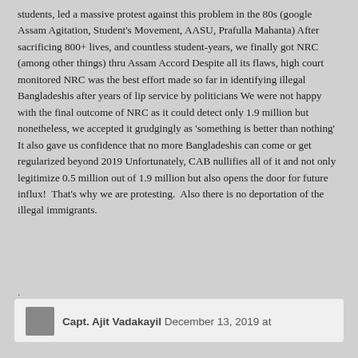students, led a massive protest against this problem in the 80s (google Assam Agitation, Student's Movement, AASU, Prafulla Mahanta) After sacrificing 800+ lives, and countless student-years, we finally got NRC (among other things) thru Assam Accord Despite all its flaws, high court monitored NRC was the best effort made so far in identifying illegal Bangladeshis after years of lip service by politicians We were not happy with the final outcome of NRC as it could detect only 1.9 million but nonetheless, we accepted it grudgingly as 'something is better than nothing' It also gave us confidence that no more Bangladeshis can come or get regularized beyond 2019 Unfortunately, CAB nullifies all of it and not only legitimize 0.5 million out of 1.9 million but also opens the door for future influx!  That's why we are protesting.  Also there is no deportation of the illegal immigrants.
.
Capt. Ajit Vadakayil December 13, 2019 at